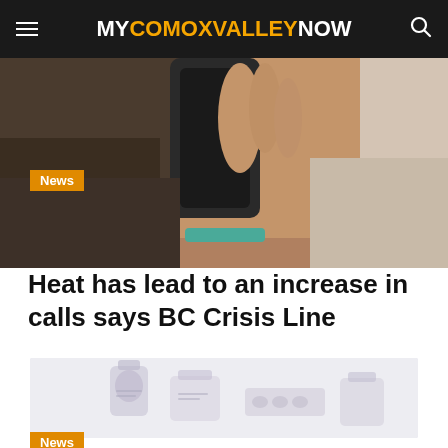MYCOMOXVALLEYNOW
[Figure (photo): Close-up photo of a person holding a black smartphone to their ear, photographed from behind/side, showing hand and head.]
News
Heat has lead to an increase in calls says BC Crisis Line
[Figure (photo): Blurred/faded photo of medication bottles and pill containers stacked together.]
News